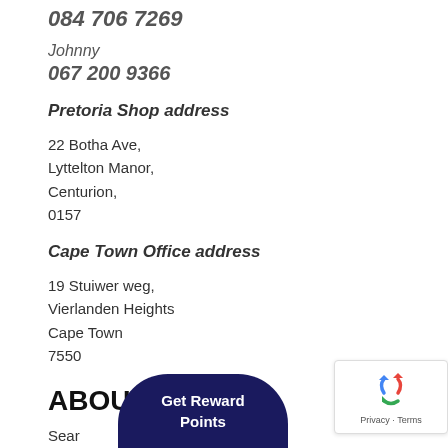084 706 7269
Johnny
067 200 9366
Pretoria Shop address
22 Botha Ave,
Lyttelton Manor,
Centurion,
0157
Cape Town Office address
19 Stuiwer weg,
Vierlanden Heights
Cape Town
7550
ABOUT
Sear…
[Figure (other): Get Reward Points button overlay (dark navy rounded top pill button)]
[Figure (other): reCAPTCHA badge with recycling arrow icon and Privacy - Terms text]